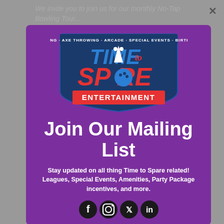We invite you to join us for our monthly No-Tap Bowling Tour...
[Figure (logo): Time to Spare Entertainment logo — shield shape with blue and red text, bowling pins, bowling ball, tagline BOWLING · AXE THROWING · ARCADE · SPECIAL EVENTS · BIRTHDAYS]
Join Our Mailing List
Stay updated on all thing Time to Spare related! Leagues, Special Events, Amenities, Party Package incentives, and more.
[Figure (illustration): Social media icons: Facebook, Instagram, Twitter, LinkedIn]